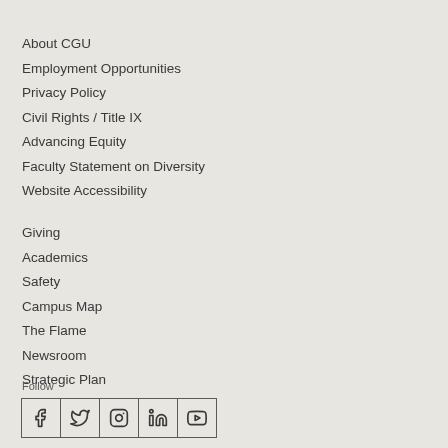About CGU
Employment Opportunities
Privacy Policy
Civil Rights / Title IX
Advancing Equity
Faculty Statement on Diversity
Website Accessibility
Giving
Academics
Safety
Campus Map
The Flame
Newsroom
Strategic Plan
Follow
[Figure (other): Social media icons: Facebook, Twitter, Instagram, LinkedIn, YouTube]